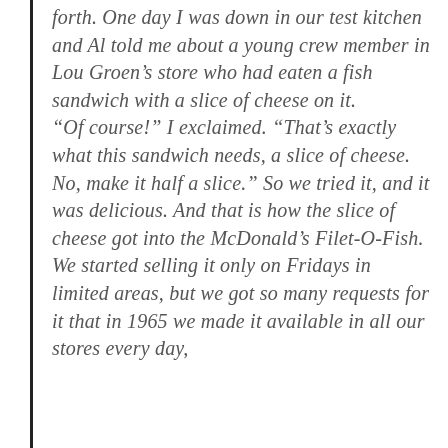forth. One day I was down in our test kitchen and Al told me about a young crew member in Lou Groen's store who had eaten a fish sandwich with a slice of cheese on it. “Of course!” I exclaimed. “That’s exactly what this sandwich needs, a slice of cheese. No, make it half a slice.” So we tried it, and it was delicious. And that is how the slice of cheese got into the McDonald’s Filet-O-Fish. We started selling it only on Fridays in limited areas, but we got so many requests for it that in 1965 we made it available in all our stores every day,